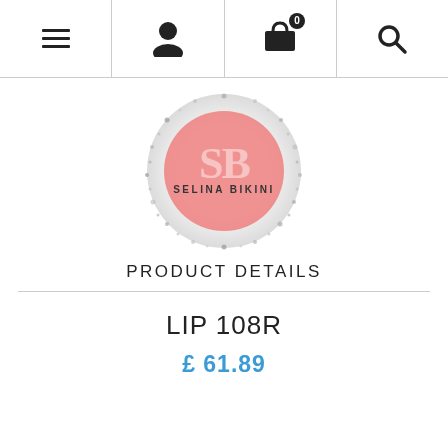Navigation bar with menu, user, cart (0), and search icons
[Figure (logo): Selina Bikini logo: pink circle with glittery/sparkly silver border, large 'SB' monogram and text 'SELINA BIKINI' in the center]
PRODUCT DETAILS
LIP 108R
£ 61.89